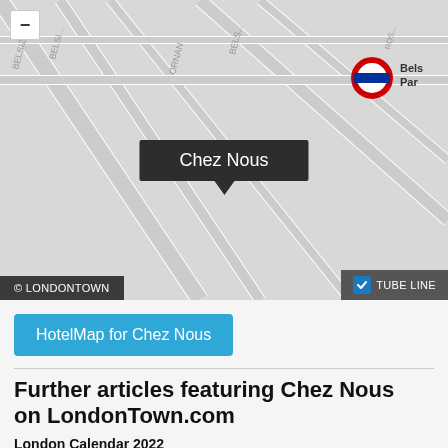[Figure (map): Street map showing location of Chez Nous near Belsize Park tube station in London, with a dark callout box labelled Chez Nous, map copyright LondonTown, tube line toggle shown]
HotelMap for Chez Nous
Further articles featuring Chez Nous on LondonTown.com
London Calendar 2022
Plan the perfect year in the capital with our pick of the best events in